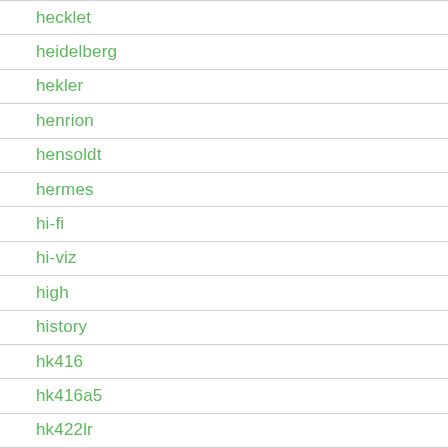hecklet
heidelberg
hekler
henrion
hensoldt
hermes
hi-fi
hi-viz
high
history
hk416
hk416a5
hk422lr